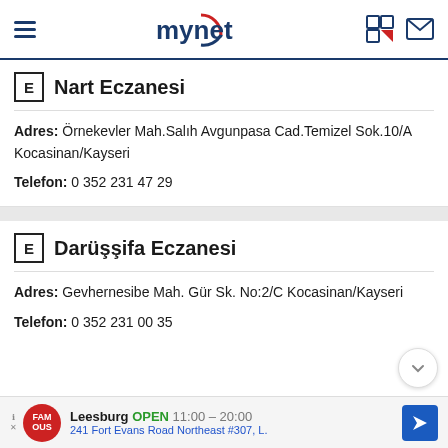mynet
Nart Eczanesi
Adres: Örnekevler Mah.Salıh Avgunpasa Cad.Temizel Sok.10/A Kocasinan/Kayseri
Telefon: 0 352 231 47 29
Darüşşifa Eczanesi
Adres: Gevhernesibe Mah. Gür Sk. No:2/C Kocasinan/Kayseri
Telefon: 0 352 231 00 35